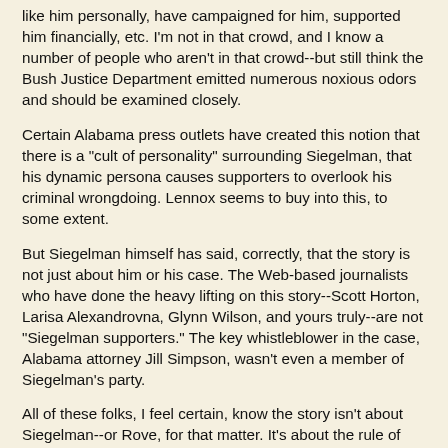like him personally, have campaigned for him, supported him financially, etc. I'm not in that crowd, and I know a number of people who aren't in that crowd--but still think the Bush Justice Department emitted numerous noxious odors and should be examined closely.
Certain Alabama press outlets have created this notion that there is a "cult of personality" surrounding Siegelman, that his dynamic persona causes supporters to overlook his criminal wrongdoing. Lennox seems to buy into this, to some extent.
But Siegelman himself has said, correctly, that the story is not just about him or his case. The Web-based journalists who have done the heavy lifting on this story--Scott Horton, Larisa Alexandrovna, Glynn Wilson, and yours truly--are not "Siegelman supporters." The key whistleblower in the case, Alabama attorney Jill Simpson, wasn't even a member of Siegelman's party.
All of these folks, I feel certain, know the story isn't about Siegelman--or Rove, for that matter. It's about the rule of